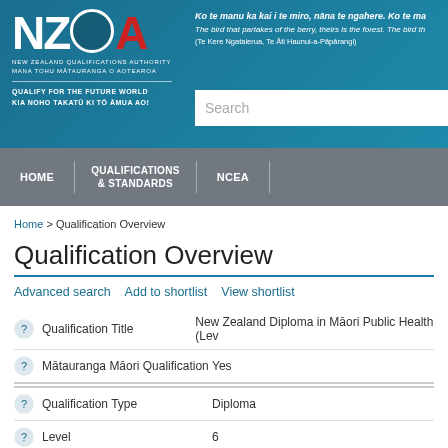[Figure (logo): NZQA New Zealand Qualifications Authority logo with white text on teal background and red Q element]
Ko te manu ka kai i te miro, nāna te ngahere. Ko te ma
The bird that partakes of the berry, theirs is the forest. The bird th
(Te Kere Ngataierua, Te Āti Haunui-a-Pāpārangi)
[Figure (screenshot): Search input box]
[Figure (screenshot): Navigation bar with HOME, QUALIFICATIONS & STANDARDS, NCEA menu items]
Home > Qualification Overview
Qualification Overview
Advanced search  Add to shortlist  View shortlist
| Field | Value |
| --- | --- |
| Qualification Title | New Zealand Diploma in Māori Public Health (Lev |
| Mātauranga Māori Qualification | Yes |
| Qualification Type | Diploma |
| Level | 6 |
| Credits | 120 |